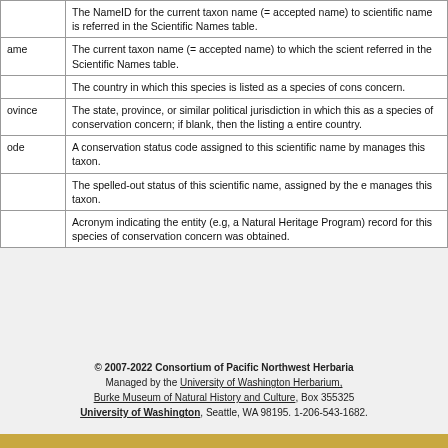| Field | Description |
| --- | --- |
|  | The NameID for the current taxon name (= accepted name) to scientific name is referred in the Scientific Names table. |
| ame | The current taxon name (= accepted name) to which the scient referred in the Scientific Names table. |
|  | The country in which this species is listed as a species of cons concern. |
| ovince | The state, province, or similar political jurisdiction in which this as a species of conservation concern; if blank, then the listing a entire country. |
| ode | A conservation status code assigned to this scientific name by manages this taxon. |
|  | The spelled-out status of this scientific name, assigned by the e manages this taxon. |
|  | Acronym indicating the entity (e.g, a Natural Heritage Program) record for this species of conservation concern was obtained. |
© 2007-2022 Consortium of Pacific Northwest Herbaria
Managed by the University of Washington Herbarium,
Burke Museum of Natural History and Culture, Box 355325
University of Washington, Seattle, WA 98195. 1-206-543-1682.